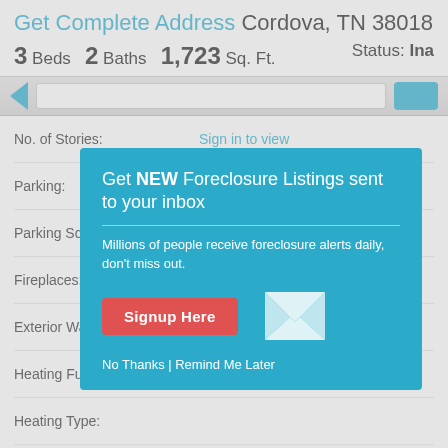Get Complete Address Cordova, TN 38018
3 Beds  2 Baths  1,723 Sq. Ft.    Status: Ina
No. of Stories: Sign in to view
Parking: Sign in to view
Parking Sqft:
Fireplaces:
Exterior Wall Type:
Heating Fuel:
Heating Type:
Roof Material:
Roof Type:
Land Area Sqft: Sign in to view
Year Built: Sign in to view
[Figure (screenshot): Modal popup: Get NEW Foreclosure Listings sent to your inbox. Millions of people receive foreclosure alerts daily, don't miss out. Signup Here button. No Thanks | Remind Me Later links.]